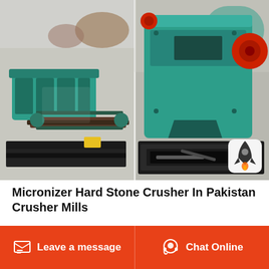[Figure (photo): Two-panel photo of industrial stone crusher / mill machinery. Left panel shows a green roller crusher machine on a black platform inside a factory. Right panel shows a green hammer mill or similar crusher with red accent components and a black frame/tray at the bottom. A notification icon (rocket/bell) overlay appears in the bottom-right corner of the image.]
Micronizer Hard Stone Crusher In Pakistan Crusher Mills
angola crushers grind gold dust processing machine Phosphate crushing mill in punjab
Leave a message   Chat Online